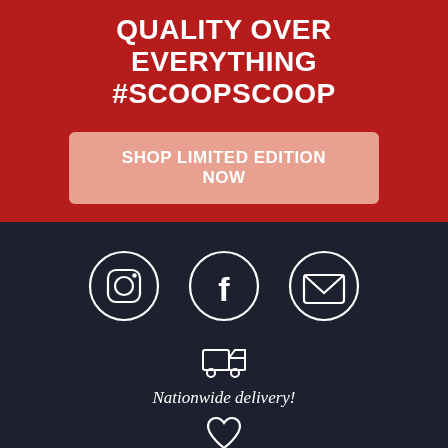QUALITY OVER EVERYTHING
#SCOOPSCOOP
SHOP LIMITED EDITION NOW
[Figure (illustration): Three circular social media icons: Instagram, Facebook, and Email/envelope, on a dark navy background]
[Figure (illustration): Delivery truck icon]
Nationwide delivery!
[Figure (illustration): Heart icon]
Made with passion.
[Figure (illustration): Glasses/eyes icon (partially visible at bottom)]